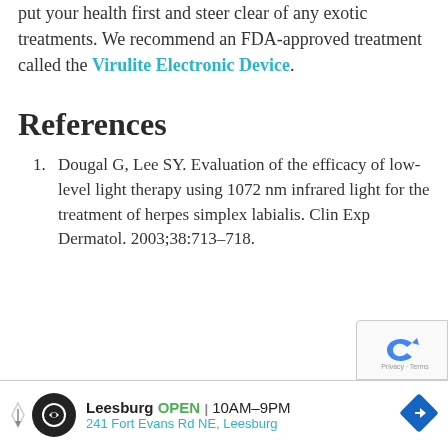put your health first and steer clear of any exotic treatments. We recommend an FDA-approved treatment called the Virulite Electronic Device.
References
1. Dougal G, Lee SY. Evaluation of the efficacy of low-level light therapy using 1072 nm infrared light for the treatment of herpes simplex labialis. Clin Exp Dermatol. 2003;38:713–718.
[Figure (other): Advertisement banner for a local business: Leesburg OPEN 10AM–9PM, 241 Fort Evans Rd NE, Leesburg, with logo and navigation icon]